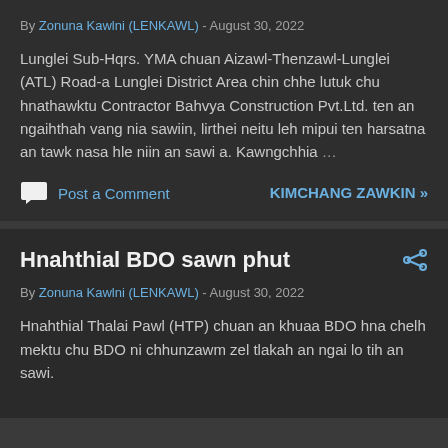By Zonuna Kawlni (LENKAWL) - August 30, 2022
Lunglei Sub-Hqrs. YMA chuan Aizawl-Thenzawl-Lunglei (ATL) Road-a Lunglei District Area chin chhe lutuk chu hnathawktu Contractor Bahvya Construction Pvt.Ltd. ten an ngaihthah vang nia sawiin, lirthei neitu leh mipui ten harsatna an tawk nasa hle niin an sawi a. Kawngchhia …
Post a Comment
KIMCHANG ZAWKIN »
Hnahthial BDO sawn phut
By Zonuna Kawlni (LENKAWL) - August 30, 2022
Hnahthial Thalai Pawl (HTP) chuan an khuaa BDO hna chelh mektu chu BDO ni chhunzawm zel tlakah an ngai lo tih an sawi.